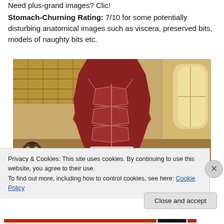Need plus-grand images? Clic!
Stomach-Churning Rating: 7/10 for some potentially disturbing anatomical images such as viscera, preserved bits, models of naughty bits etc.
[Figure (photo): Large anatomical model showing muscular torso from front, displayed in a museum hall with skylights and large windows. The figure shows detailed musculature of the abdomen and upper legs.]
Privacy & Cookies: This site uses cookies. By continuing to use this website, you agree to their use.
To find out more, including how to control cookies, see here: Cookie Policy
Close and accept